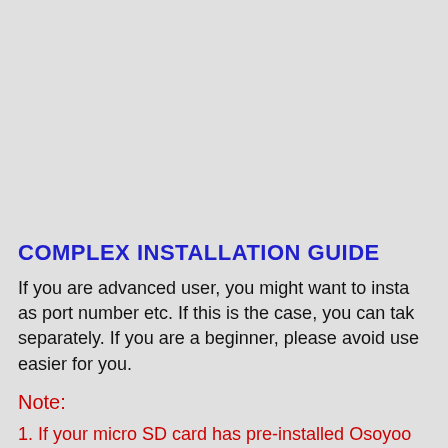COMPLEX INSTALLATION GUIDE
If you are advanced user, you might want to install as port number etc. If this is the case, you can take separately. If you are a beginner, please avoid use easier for you.
Note:
1. If your micro SD card has pre-installed Osoyoo